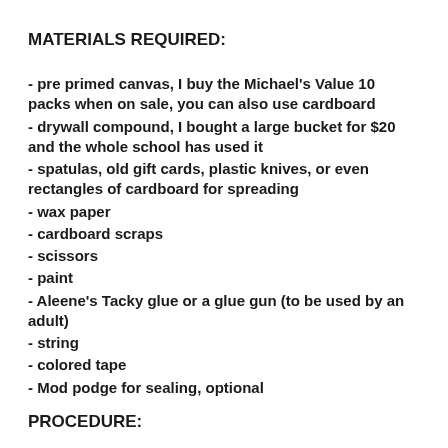MATERIALS REQUIRED:
- pre primed canvas, I buy the Michael's Value 10 packs when on sale, you can also use cardboard
- drywall compound, I bought a large bucket for $20 and the whole school has used it
- spatulas, old gift cards, plastic knives, or even rectangles of cardboard for spreading
- wax paper
- cardboard scraps
- scissors
- paint
- Aleene's Tacky glue or a glue gun (to be used by an adult)
- string
- colored tape
- Mod podge for sealing, optional
PROCEDURE: